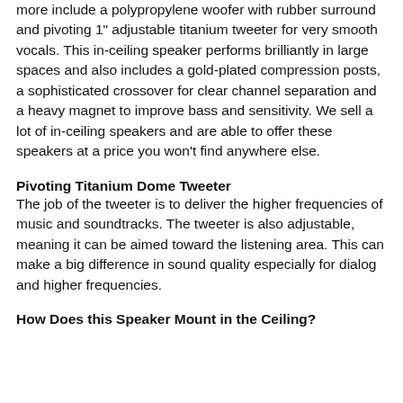more include a polypropylene woofer with rubber surround and pivoting 1" adjustable titanium tweeter for very smooth vocals. This in-ceiling speaker performs brilliantly in large spaces and also includes a gold-plated compression posts, a sophisticated crossover for clear channel separation and a heavy magnet to improve bass and sensitivity. We sell a lot of in-ceiling speakers and are able to offer these speakers at a price you won't find anywhere else.
Pivoting Titanium Dome Tweeter
The job of the tweeter is to deliver the higher frequencies of music and soundtracks. The tweeter is also adjustable, meaning it can be aimed toward the listening area. This can make a big difference in sound quality especially for dialog and higher frequencies.
How Does this Speaker Mount in the Ceiling?